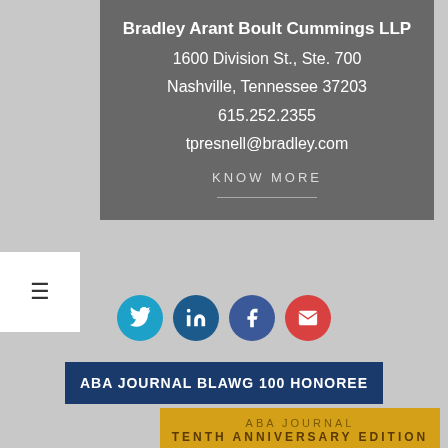Bradley Arant Boult Cummings LLP
1600 Division St., Ste. 700
Nashville, Tennessee 37203
615.252.2355
tpresnell@bradley.com
KNOW MORE
[Figure (infographic): Social media icon buttons: Twitter (cyan), LinkedIn (dark blue), Facebook (blue), Email (red)]
ABA JOURNAL BLAWG 100 HONOREE
[Figure (logo): ABA Journal Tenth Anniversary Edition 100 badge on gold/yellow background]